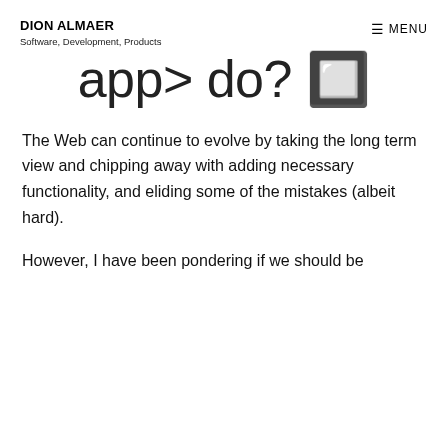DION ALMAER
Software, Development, Products
app> do? 🔲
The Web can continue to evolve by taking the long term view and chipping away with adding necessary functionality, and eliding some of the mistakes (albeit hard).
However, I have been pondering if we should be